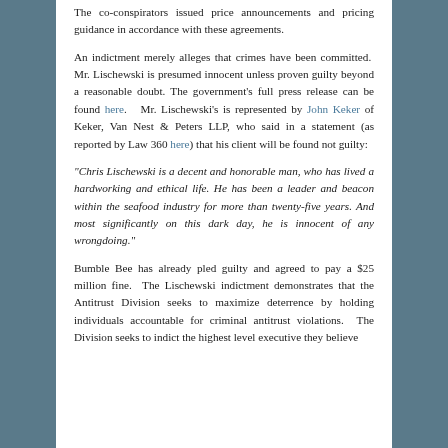The co-conspirators issued price announcements and pricing guidance in accordance with these agreements.
An indictment merely alleges that crimes have been committed. Mr. Lischewski is presumed innocent unless proven guilty beyond a reasonable doubt. The government's full press release can be found here. Mr. Lischewski's is represented by John Keker of Keker, Van Nest & Peters LLP, who said in a statement (as reported by Law 360 here) that his client will be found not guilty:
“Chris Lischewski is a decent and honorable man, who has lived a hardworking and ethical life. He has been a leader and beacon within the seafood industry for more than twenty-five years. And most significantly on this dark day, he is innocent of any wrongdoing.”
Bumble Bee has already pled guilty and agreed to pay a $25 million fine. The Lischewski indictment demonstrates that the Antitrust Division seeks to maximize deterrence by holding individuals accountable for criminal antitrust violations. The Division seeks to indict the highest level executive they believe